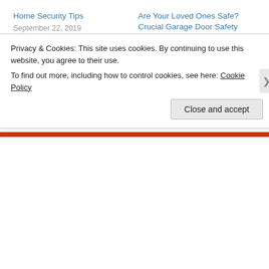Home Security Tips
September 22, 2019
In "Locksmith"
Are Your Loved Ones Safe? Crucial Garage Door Safety Tips!
November 4, 2018
In "Locksmith"
A locked garage may not protect your bike from theft, condo management says
August 6, 2018
In "Locksmith"
Privacy & Cookies: This site uses cookies. By continuing to use this website, you agree to their use.
To find out more, including how to control cookies, see here: Cookie Policy
Close and accept